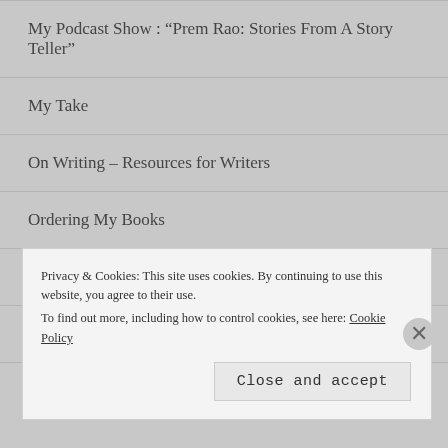My Podcast Show : "Prem Rao: Stories From A Story Teller"
My Take
On Writing – Resources for Writers
Ordering My Books
Serial Fiction: Links
Your Space
Privacy & Cookies: This site uses cookies. By continuing to use this website, you agree to their use. To find out more, including how to control cookies, see here: Cookie Policy
Close and accept